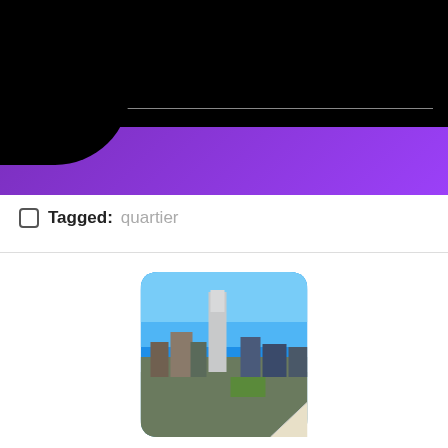[Figure (screenshot): Dark/black header section with a purple curved banner at the bottom and a horizontal separator line with two pause-button style rectangle icons]
Tagged: quartier
[Figure (photo): Photo of a city skyline (New York City) with tall skyscrapers and blue sky, shown in a rounded rectangle card with a folded corner effect]